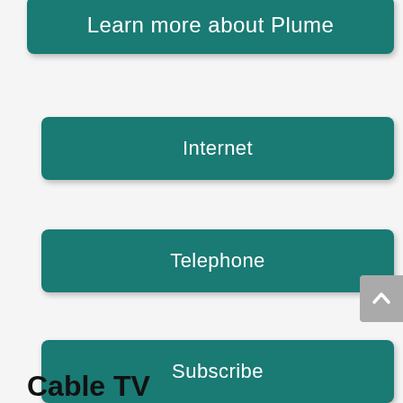[Figure (other): Teal button labeled 'Learn more about Plume' at top, partially cropped]
Internet
Telephone
Subscribe
Cable TV